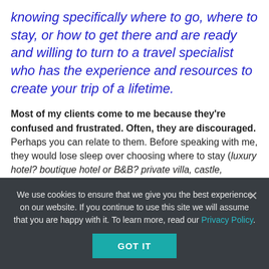knowing specifically where to go, where to stay, or how to get there and are ready and willing to turn to a travel specialist who has the experience and resources to create your trip of a lifetime.
Most of my clients come to me because they're confused and frustrated. Often, they are discouraged. Perhaps you can relate to them. Before speaking with me, they would lose sleep over choosing where to stay (luxury hotel? boutique hotel or B&B? private villa, castle, apartment or cottage?); whether a privately guided or a self-guided tour is best; should they sightsee 'off the beaten track' and will it be safe? Wondering what to wear, if there is a language barrier,
We use cookies to ensure that we give you the best experience on our website. If you continue to use this site we will assume that you are happy with it. To learn more, read our Privacy Policy.
GOT IT